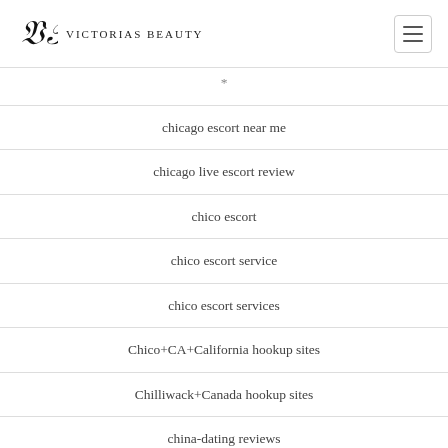Victorias Beauty
*
chicago escort near me
chicago live escort review
chico escort
chico escort service
chico escort services
Chico+CA+California hookup sites
Chilliwack+Canada hookup sites
china-dating reviews
china-dating sign in